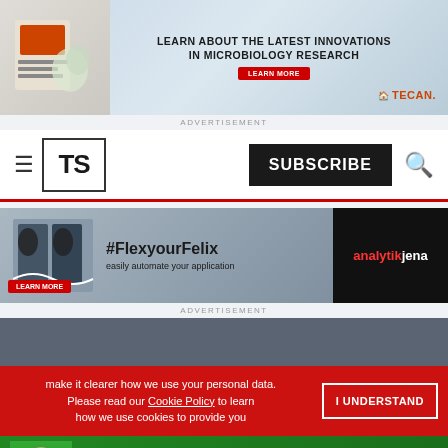[Figure (illustration): Tecan advertisement banner: LEARN ABOUT THE LATEST INNOVATIONS IN MICROBIOLOGY RESEARCH with LEARN MORE button and Tecan logo]
ADVERTISEMENT
TS | SUBSCRIBE
[Figure (illustration): Analytik Jena advertisement: #FlexyourFelix easily automate your application with LEARN MORE button]
ADVERTISEMENT
make it clearer how we use your personal data. Please read our Cookie Policy to learn how we use cookies to provide you
I UNDERSTAND
[Figure (illustration): OriGene Special Offer advertisement: Primary Antibody Samples 30 ul for $99/€99 with LEARN MORE button]
ADVERTISEMENT